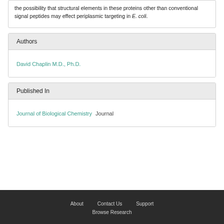the possibility that structural elements in these proteins other than conventional signal peptides may effect periplasmic targeting in E. coli.
Authors
David Chaplin M.D., Ph.D.
Published In
Journal of Biological Chemistry  Journal
About   Contact Us   Support   Browse Research